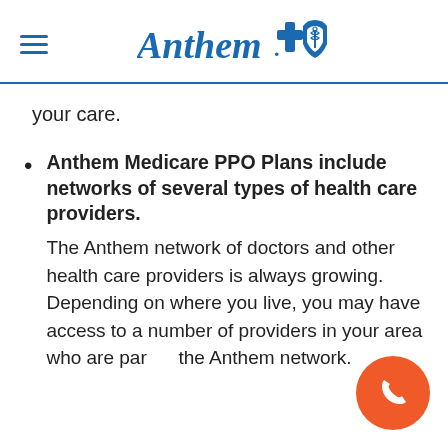Anthem Blue Cross Blue Shield
your care.
Anthem Medicare PPO Plans include networks of several types of health care providers. The Anthem network of doctors and other health care providers is always growing. Depending on where you live, you may have access to a number of providers in your area who are part of the Anthem network.
[Figure (illustration): Orange circular phone/call button in bottom right corner]